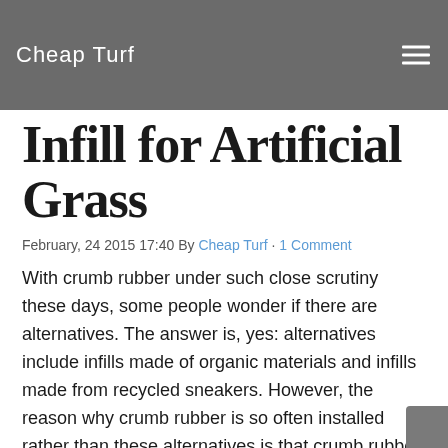Cheap Turf
Infill for Artificial Grass
February, 24 2015 17:40 By Cheap Turf · 1 Comment
With crumb rubber under such close scrutiny these days, some people wonder if there are alternatives. The answer is, yes: alternatives include infills made of organic materials and infills made from recycled sneakers. However, the reason why crumb rubber is so often installed rather than these alternatives is that crumb rubber is the least expensive one. What exactly is crumb rubber? Crumb rubber is recycled rubber tires. Actually, it's no longer even considered a waste product